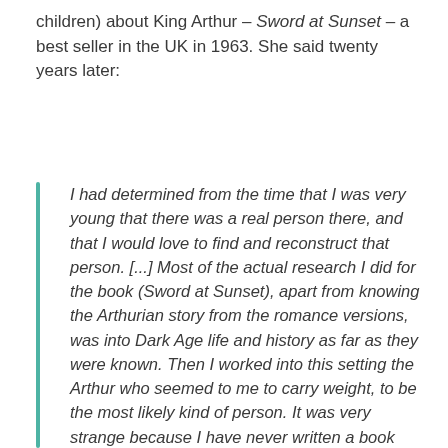children) about King Arthur – Sword at Sunset – a best seller in the UK in 1963. She said twenty years later:
I had determined from the time that I was very young that there was a real person there, and that I would love to find and reconstruct that person. [...] Most of the actual research I did for the book (Sword at Sunset), apart from knowing the Arthurian story from the romance versions, was into Dark Age life and history as far as they were known. Then I worked into this setting the Arthur who seemed to me to carry weight, to be the most likely kind of person. It was very strange because I have never written a book which was so possessive. It was extraordinary–almost frightening. [...] I would take the book to bed with me at night, and